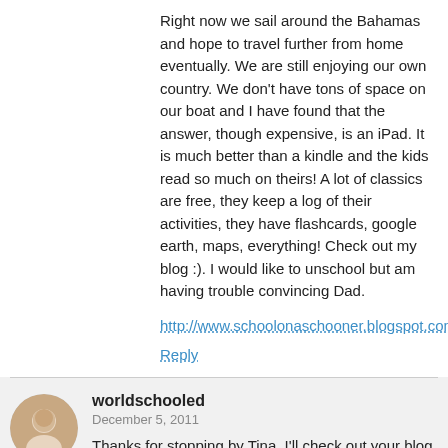Right now we sail around the Bahamas and hope to travel further from home eventually. We are still enjoying our own country. We don't have tons of space on our boat and I have found that the answer, though expensive, is an iPad. It is much better than a kindle and the kids read so much on theirs! A lot of classics are free, they keep a log of their activities, they have flashcards, google earth, maps, everything! Check out my blog :). I would like to unschool but am having trouble convincing Dad.
http://www.schoolonaschooner.blogspot.com
Reply
worldschooled
December 5, 2011
Thanks for stopping by Tina, I'll check out your blog for sure!
Reply
Lily
December 16, 2011